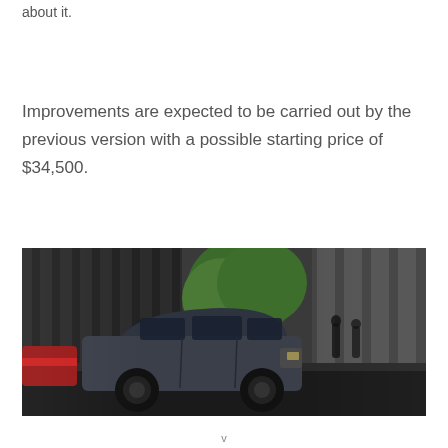about it.
Improvements are expected to be carried out by the previous version with a possible starting price of $34,500.
[Figure (photo): A dark gray SUV (Mazda CX-9 style) driving on a city street with motion blur, large building columns in background and a green tree visible]
v